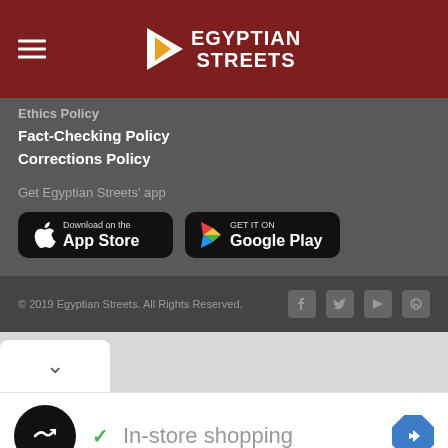Egyptian Streets
Ethics Policy (partial)
Fact-Checking Policy
Corrections Policy
Get Egyptian Streets' app
[Figure (logo): Download on the App Store button]
[Figure (logo): Get it on Google Play button]
© 2019 Egyptian Streets. All Rights Reserved.
[Figure (infographic): In-store shopping ad banner with checkmark, navigation icon, and ad controls]
In-store shopping